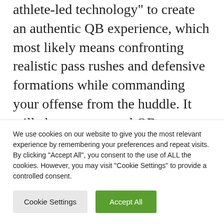athlete-led technology" to create an authentic QB experience, which most likely means confronting realistic pass rushes and defensive formations while commanding your offense from the huddle. It will also recreate real QB moments like running through the tunnel or completing practice drills.

The pre-alpha gameplay lacks the graphical
We use cookies on our website to give you the most relevant experience by remembering your preferences and repeat visits. By clicking “Accept All”, you consent to the use of ALL the cookies. However, you may visit “Cookie Settings” to provide a controlled consent.